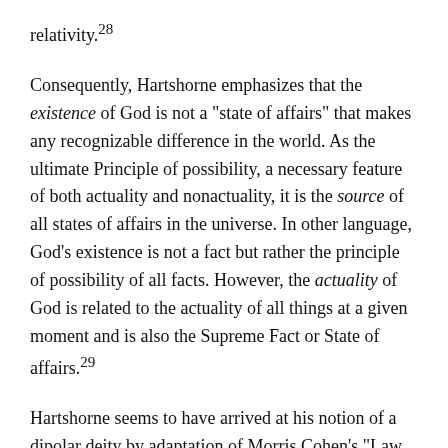relativity.28
Consequently, Hartshorne emphasizes that the existence of God is not a "state of affairs" that makes any recognizable difference in the world. As the ultimate Principle of possibility, a necessary feature of both actuality and nonactuality, it is the source of all states of affairs in the universe. In other language, God's existence is not a fact but rather the principle of possibility of all facts. However, the actuality of God is related to the actuality of all things at a given moment and is also the Supreme Fact or State of affairs.29
Hartshorne seems to have arrived at his notion of a dipolar deity by adaptation of Morris Cohen's "Law of Polarity" for purposes of defending Whitehead's famous distinction between the primordial and the consequent natures of God. The Law of Polarity dictates that not just any distinction...